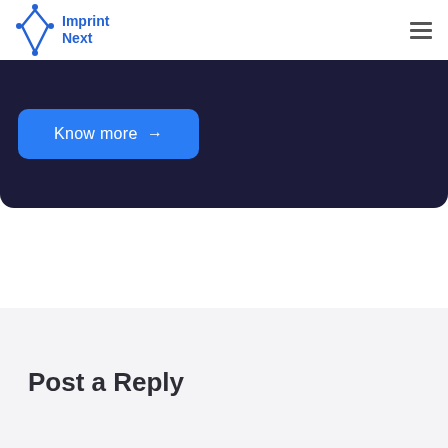Imprint Next
[Figure (screenshot): Dark navy banner section with a blue 'Know more →' button]
Post a Reply